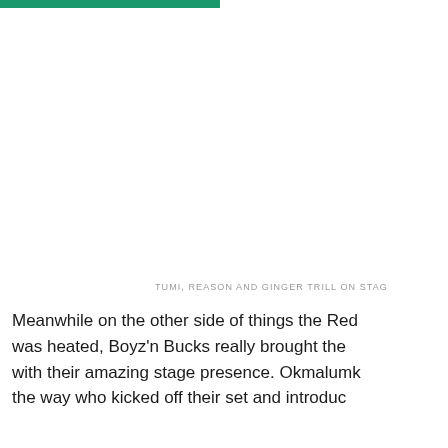[Figure (photo): Photo area showing Tumi, Reason and Ginger Trill on stage (image not visible in this crop)]
TUMI, REASON AND GINGER TRILL ON STAG
Meanwhile on the other side of things the Red was heated, Boyz'n Bucks really brought the with their amazing stage presence. Okmalumk the way who kicked off their set and introduc